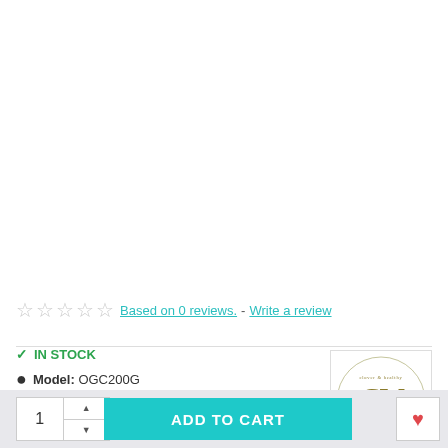[Figure (photo): Product image area (white/blank)]
☆ ☆ ☆ ☆ ☆  Based on 0 reviews.  -  Write a review
✓ IN STOCK
Model: OGC200G
Weight: 200.00g
[Figure (logo): Brand logo: Clover Healthy Nature brand mark in olive/green with cursive 'CW' letters]
1  ADD TO CART  ♡